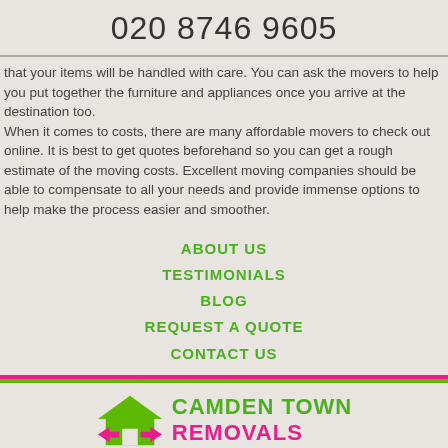020 8746 9605
that your items will be handled with care. You can ask the movers to help you put together the furniture and appliances once you arrive at the destination too.
When it comes to costs, there are many affordable movers to check out online. It is best to get quotes beforehand so you can get a rough estimate of the moving costs. Excellent moving companies should be able to compensate to all your needs and provide immense options to help make the process easier and smoother.
ABOUT US
TESTIMONIALS
BLOG
REQUEST A QUOTE
CONTACT US
[Figure (logo): Camden Town Removals logo with green house icon and pink/green company name text]
Company name: Camden Town Removals